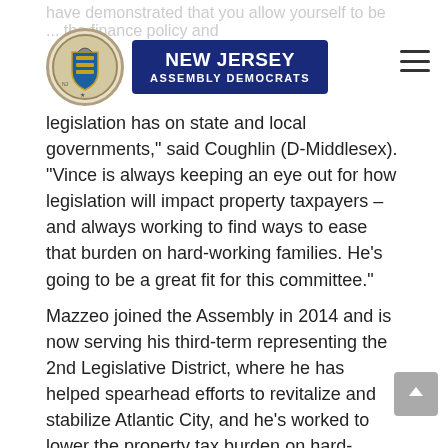New Jersey Assembly Democrats
legislation has on state and local governments," said Coughlin (D-Middlesex). "Vince is always keeping an eye out for how legislation will impact property taxpayers – and always working to find ways to ease that burden on hard-working families. He’s going to be a great fit for this committee."
Mazzeo joined the Assembly in 2014 and is now serving his third-term representing the 2nd Legislative District, where he has helped spearhead efforts to revitalize and stabilize Atlantic City, and he’s worked to lower the property tax burden on hard-working families and small businesses.
“Local government, in particular, can often fall victim to poor state policy and planning, and that’s something we must always be aware of going forward," Mazzeo said. “We must make sure that property taxpayers are always